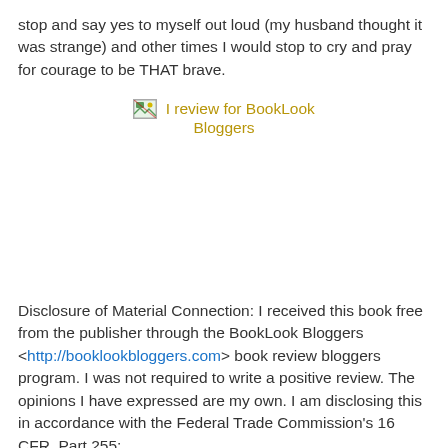stop and say yes to myself out loud (my husband thought it was strange) and other times I would stop to cry and pray for courage to be THAT brave.
[Figure (logo): Broken image icon followed by text 'I review for BookLook Bloggers' in gold/tan color, centered on page]
Disclosure of Material Connection: I received this book free from the publisher through the BookLook Bloggers <http://booklookbloggers.com> book review bloggers program. I was not required to write a positive review. The opinions I have expressed are my own. I am disclosing this in accordance with the Federal Trade Commission's 16 CFR, Part 255: